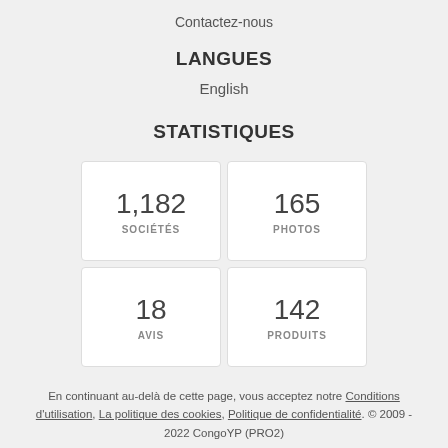Contactez-nous
LANGUES
English
STATISTIQUES
| 1,182 | SOCIÉTÉS | 165 | PHOTOS |
| 18 | AVIS | 142 | PRODUITS |
En continuant au-delà de cette page, vous acceptez notre Conditions d'utilisation, La politique des cookies, Politique de confidentialité. © 2009 - 2022 CongoYP (PRO2)